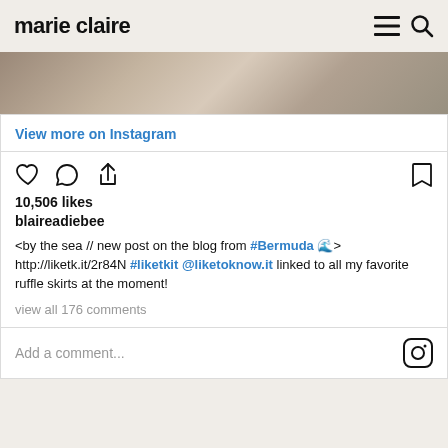marie claire
[Figure (photo): Partial view of a photo showing a stone or beach scene, cropped at top of Instagram embed card]
View more on Instagram
10,506 likes
blaireadiebee
<by the sea // new post on the blog from #Bermuda 🌊> http://liketk.it/2r84N #liketkit @liketoknow.it linked to all my favorite ruffle skirts at the moment!
view all 176 comments
Add a comment...